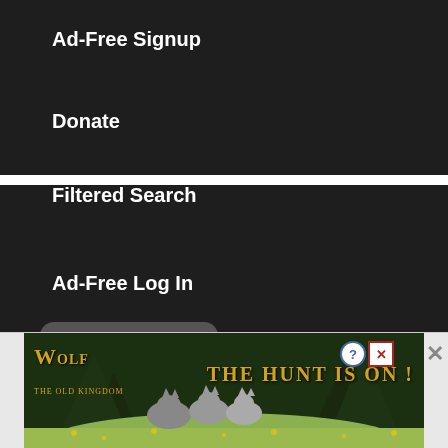Ad-Free Signup
Donate
Filtered Search
Ad-Free Log In
Subscribe
Join 23,763 other subscribers
[Figure (screenshot): Advertisement banner for Wolf game - The Hunt Is On! showing wolves in a forest meadow with close buttons]